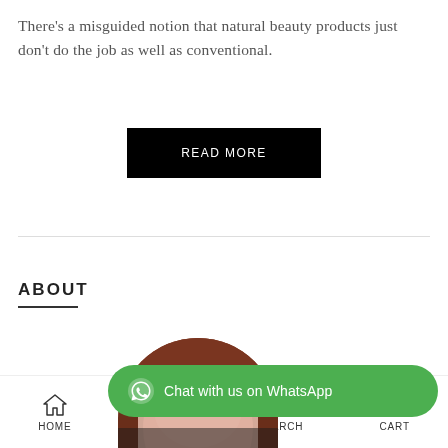There's a misguided notion that natural beauty products just don't do the job as well as conventional.
READ MORE
ABOUT
[Figure (photo): Circular cropped portrait photo of a person with dark reddish hair, partially overlaid by a WhatsApp chat button]
Chat with us on WhatsApp
HOME  MENU  SEARCH  CART